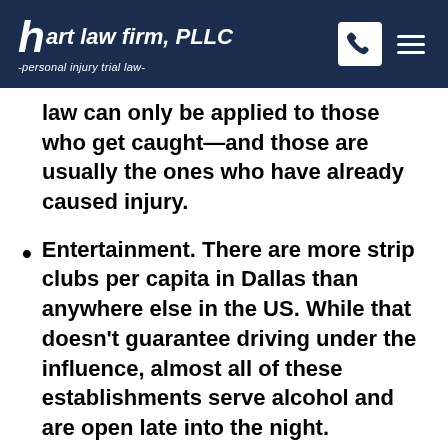hart law firm, PLLC -personal injury trial law-
law can only be applied to those who get caught—and those are usually the ones who have already caused injury.
Entertainment. There are more strip clubs per capita in Dallas than anywhere else in the US. While that doesn't guarantee driving under the influence, almost all of these establishments serve alcohol and are open late into the night.
Speed. Drunk drivers are already impaired, but when combined with high speeds, a drunk driver can be twice as lethal. A driver